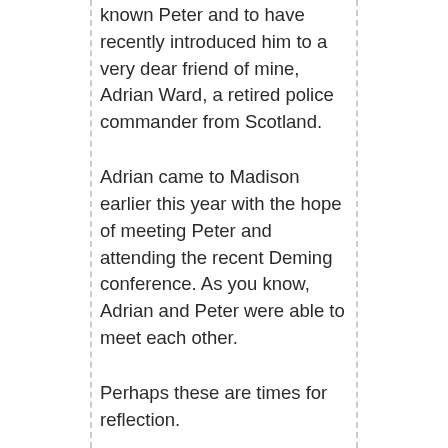known Peter and to have recently introduced him to a very dear friend of mine, Adrian Ward, a retired police commander from Scotland.
Adrian came to Madison earlier this year with the hope of meeting Peter and attending the recent Deming conference. As you know, Adrian and Peter were able to meet each other.
Perhaps these are times for reflection.
Looking back, I have known Peter now for over 30 years. We first met